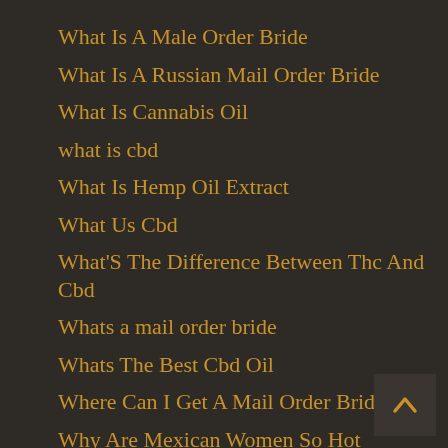What Is A Male Order Bride
What Is A Russian Mail Order Bride
What Is Cannabis Oil
what is cbd
What Is Hemp Oil Extract
What Us Cbd
What'S The Difference Between Thc And Cbd
Whats a mail order bride
Whats The Best Cbd Oil
Where Can I Get A Mail Order Bride
Why Are Mexican Women So Hot
Wife Latin
william hill casino trick
Windows Errors
wix website editor